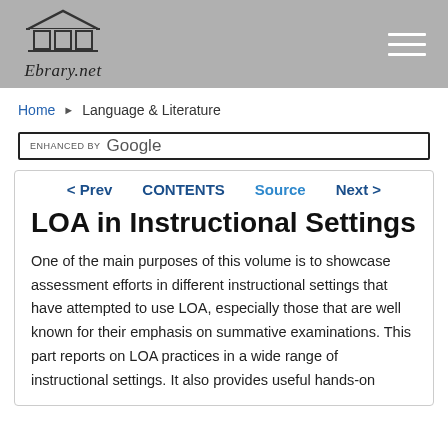[Figure (logo): Ebrary.net logo with library building icon and handwritten script text]
Home ▶ Language & Literature
ENHANCED BY Google
LOA in Instructional Settings
< Prev   CONTENTS   Source   Next >
One of the main purposes of this volume is to showcase assessment efforts in different instructional settings that have attempted to use LOA, especially those that are well known for their emphasis on summative examinations. This part reports on LOA practices in a wide range of instructional settings. It also provides useful hands-on